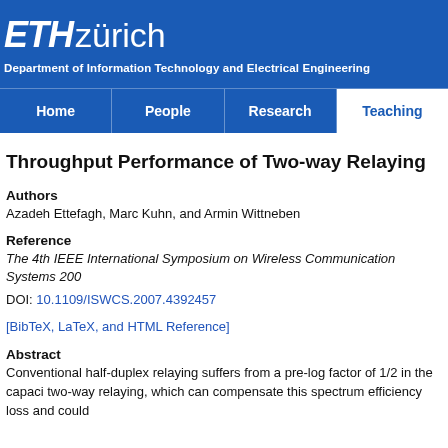[Figure (logo): ETH Zürich logo with Department of Information Technology and Electrical Engineering header on blue background]
Home | People | Research | Teaching
Throughput Performance of Two-way Relaying
Authors
Azadeh Ettefagh, Marc Kuhn, and Armin Wittneben
Reference
The 4th IEEE International Symposium on Wireless Communication Systems 200...
DOI: 10.1109/ISWCS.2007.4392457
[BibTeX, LaTeX, and HTML Reference]
Abstract
Conventional half-duplex relaying suffers from a pre-log factor of 1/2 in the capacity two-way relaying, which can compensate this spectrum efficiency loss and could...